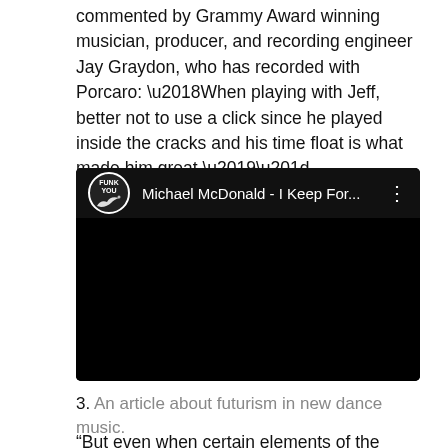commented by Grammy Award winning musician, producer, and recording engineer Jay Graydon, who has recorded with Porcaro: ‘When playing with Jeff, better not to use a click since he played inside the cracks and his time float is what made him great.’”
[Figure (screenshot): YouTube video thumbnail showing a black screen with a channel logo (Funk You) and title 'Michael McDonald - I Keep For...' with a three-dot menu icon]
3. An article about futurism in new dance music.
“But even when certain elements of the music have